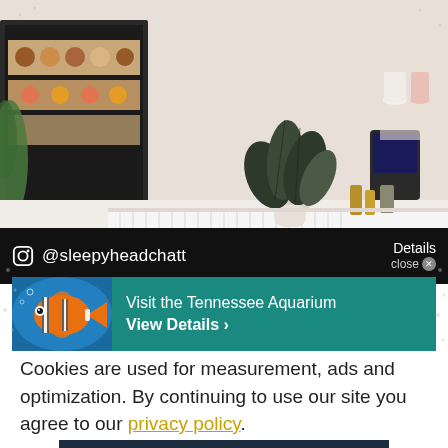[Figure (photo): Photo of a cafe counter with pastry display case on the left, a plant in a white pot in the center, and various items on a white ribbed counter]
@sleepyheadchatt
Details close
[Figure (photo): Advertisement banner for the Tennessee Aquarium showing a clownfish image on the left with text 'Visit the Tennessee Aquarium / View Details >']
Cookies are used for measurement, ads and optimization. By continuing to use our site you agree to our privacy policy.
ACCEPT